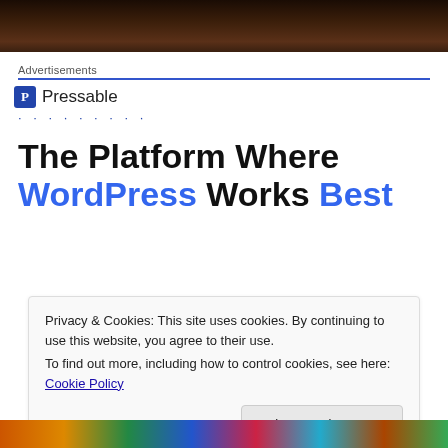[Figure (photo): Dark wooden surface photo, cropped at top]
Advertisements
[Figure (logo): Pressable logo with blue P icon and text 'Pressable' followed by dotted line]
The Platform Where WordPress Works Best
Privacy & Cookies: This site uses cookies. By continuing to use this website, you agree to their use.
To find out more, including how to control cookies, see here: Cookie Policy
[Figure (photo): Colorful woven textile photo at bottom]